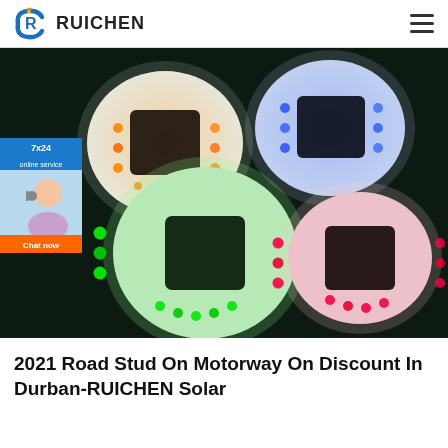RUICHEN
[Figure (photo): Four round solar road stud LED lights arranged in a 2x2 pattern on a dark surface. Each stud emits a different LED color: orange/amber (top-left), blue (top-right), green (bottom-left), pink/red (bottom-right). Each has a black solar panel in the center. A chat widget overlay is visible on the left side showing '7x24 online service' badge, a customer service avatar, and an orange 'Chat now' button.]
2021 Road Stud On Motorway On Discount In Durban-RUICHEN Solar